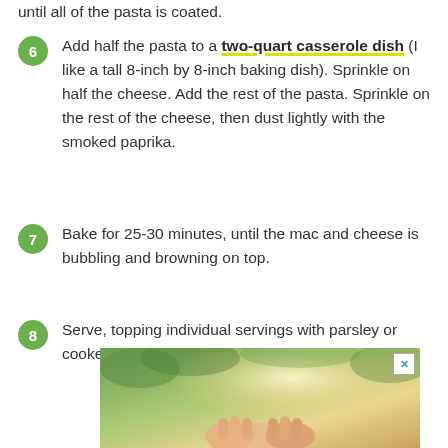until all of the pasta is coated.
Add half the pasta to a two-quart casserole dish (I like a tall 8-inch by 8-inch baking dish). Sprinkle on half the cheese. Add the rest of the pasta. Sprinkle on the rest of the cheese, then dust lightly with the smoked paprika.
Bake for 25-30 minutes, until the mac and cheese is bubbling and browning on top.
Serve, topping individual servings with parsley or cooked, chopped bacon if desired.
[Figure (photo): Advertisement banner showing hands held together against a green outdoor background.]